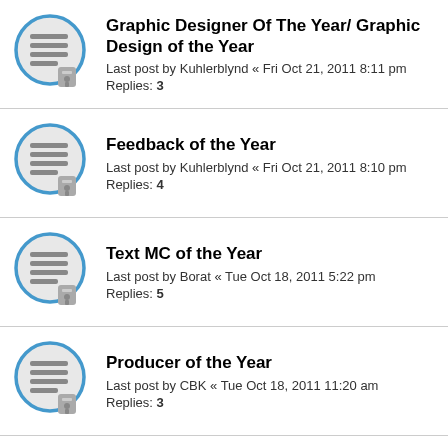Graphic Designer Of The Year/ Graphic Design of the Year
Last post by Kuhlerblynd « Fri Oct 21, 2011 8:11 pm
Replies: 3
Feedback of the Year
Last post by Kuhlerblynd « Fri Oct 21, 2011 8:10 pm
Replies: 4
Text MC of the Year
Last post by Borat « Tue Oct 18, 2011 5:22 pm
Replies: 5
Producer of the Year
Last post by CBK « Tue Oct 18, 2011 11:20 am
Replies: 3
Most Anticipated
Last post by -ChessBoard- « Fri Oct 14, 2011 6:18 am
Replies: 6